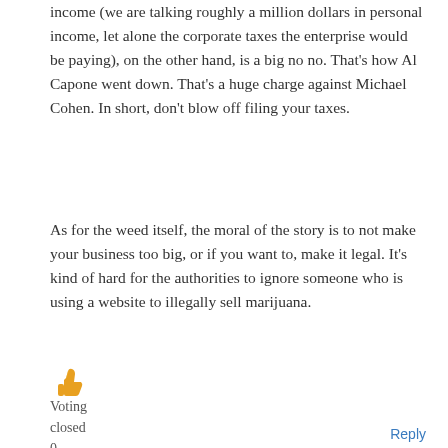income (we are talking roughly a million dollars in personal income, let alone the corporate taxes the enterprise would be paying), on the other hand, is a big no no. That's how Al Capone went down. That's a huge charge against Michael Cohen. In short, don't blow off filing your taxes.
As for the weed itself, the moral of the story is to not make your business too big, or if you want to, make it legal. It's kind of hard for the authorities to ignore someone who is using a website to illegally sell marijuana.
[Figure (illustration): Orange thumbs up emoji icon]
Voting closed 0
Reply